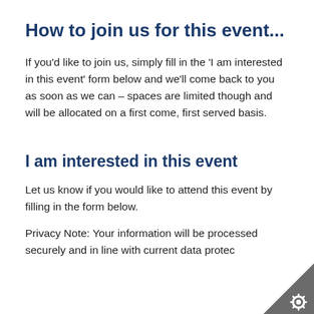How to join us for this event...
If you'd like to join us, simply fill in the 'I am interested in this event' form below and we'll come back to you as soon as we can – spaces are limited though and will be allocated on a first come, first served basis.
I am interested in this event
Let us know if you would like to attend this event by filling in the form below.
Privacy Note: Your information will be processed securely and in line with current data protec…